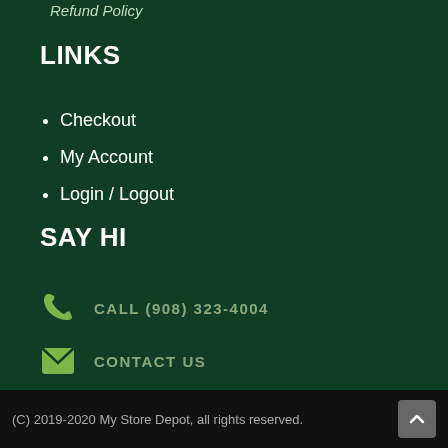Refund Policy
LINKS
Checkout
My Account
Login / Logout
SAY HI
CALL (908) 323-4004
CONTACT US
(C) 2019-2020 My Store Depot, all rights reserved.